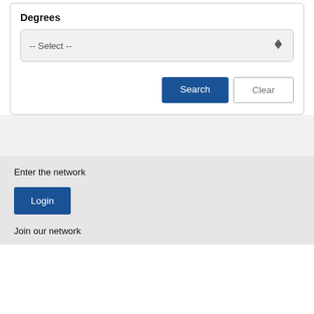Degrees
[Figure (screenshot): A dropdown select box with placeholder text '-- Select --' and a spinner arrow icon on the right, styled with a light gray background.]
[Figure (screenshot): Two buttons side by side: a blue 'Search' button and a white/outlined 'Clear' button.]
Enter the network
[Figure (screenshot): A blue 'Login' button.]
Join our network